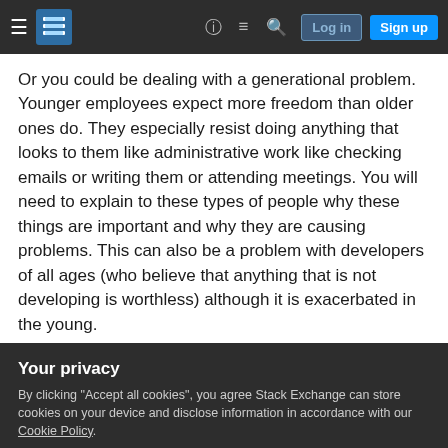Stack Exchange navigation bar with hamburger menu, logo, help, chat, search icons, Log in and Sign up buttons
Or you could be dealing with a generational problem. Younger employees expect more freedom than older ones do. They especially resist doing anything that looks to them like administrative work like checking emails or writing them or attending meetings. You will need to explain to these types of people why these things are important and why they are causing problems. This can also be a problem with developers of all ages (who believe that anything that is not developing is worthless) although it is exacerbated in the young.
Your privacy
By clicking "Accept all cookies", you agree Stack Exchange can store cookies on your device and disclose information in accordance with our Cookie Policy.
Accept all cookies   Customize settings
change.